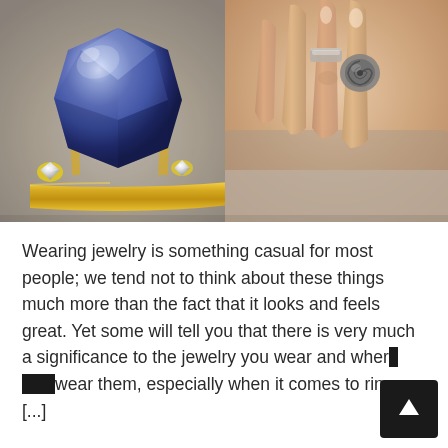[Figure (photo): Composite photo: left half shows a gold ring with a large rough blue-purple gemstone (tanzanite) flanked by small diamond accents; right half shows a woman's hand wearing multiple rings including a snail shell ring and a silver ring, resting on a textured surface.]
Wearing jewelry is something casual for most people; we tend not to think about these things much more than the fact that it looks and feels great. Yet some will tell you that there is very much a significance to the jewelry you wear and where you wear them, especially when it comes to rings. [...]